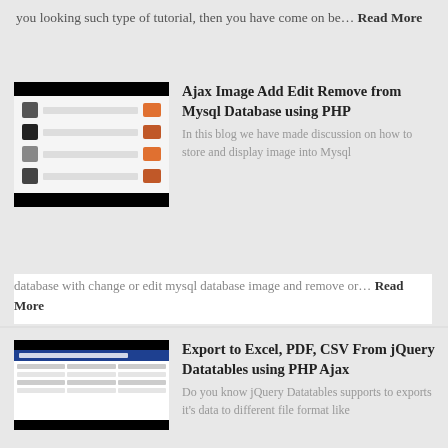you looking such type of tutorial, then you have come on be… Read More
Ajax Image Add Edit Remove from Mysql Database using PHP
[Figure (screenshot): Screenshot of a web UI showing a table with image thumbnails and colored squares]
In this blog we have made discussion on how to store and display image into Mysql database with change or edit mysql database image and remove or… Read More
Export to Excel, PDF, CSV From jQuery Datatables using PHP Ajax
[Figure (screenshot): Screenshot of Export Data Datatables tool with blue header and data table rows]
Do you know jQuery Datatables supports to exports it's data to different file format like Excel sheet, CSV (comma-separated values) and PDF by us… Read More
Delete Multiple Records using PHP Ajax with
[Figure (screenshot): Screenshot of a web page with red header bar]